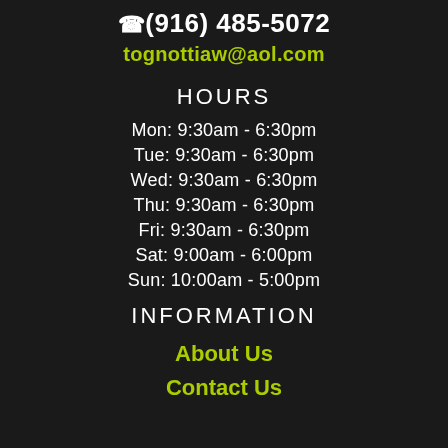(916) 485-5072
tognottiaw@aol.com
HOURS
Mon: 9:30am - 6:30pm
Tue: 9:30am - 6:30pm
Wed: 9:30am - 6:30pm
Thu: 9:30am - 6:30pm
Fri: 9:30am - 6:30pm
Sat: 9:00am - 6:00pm
Sun: 10:00am - 5:00pm
INFORMATION
About Us
Contact Us